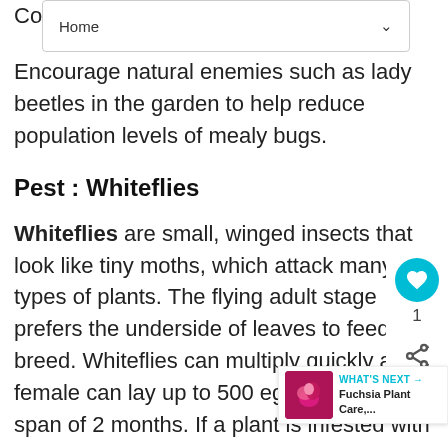[Figure (screenshot): Navigation bar with 'Home' label and dropdown arrow]
Encourage natural enemies such as lady beetles in the garden to help reduce population levels of mealy bugs.
Pest : Whiteflies
Whiteflies are small, winged insects that look like tiny moths, which attack many types of plants. The flying adult stage prefers the underside of leaves to feed and breed. Whiteflies can multiply quickly as a female can lay up to 500 eggs in a life span of 2 months. If a plant is infested with whiteflies, you will see a cloud of fleeing insects when the plant is disturbed. Whiteflies can weaken a plant
[Figure (infographic): Floating like/heart button (teal circle with heart icon) with count of 1, and share icon below]
[Figure (infographic): What's Next promo box with fuchsia plant thumbnail, label 'WHAT'S NEXT →', and title 'Fuchsia Plant Care,...']